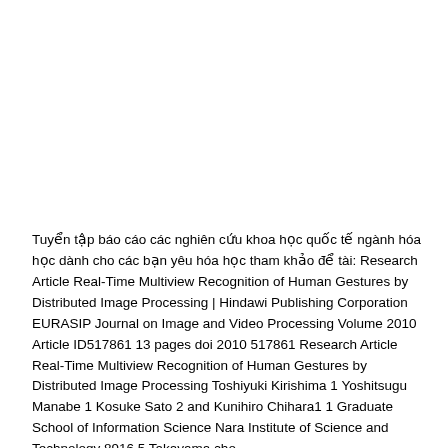Tuyển tập báo cáo các nghiên cứu khoa học quốc tế ngành hóa học dành cho các bạn yêu hóa học tham khảo để tài: Research Article Real-Time Multiview Recognition of Human Gestures by Distributed Image Processing | Hindawi Publishing Corporation EURASIP Journal on Image and Video Processing Volume 2010 Article ID517861 13 pages doi 2010 517861 Research Article Real-Time Multiview Recognition of Human Gestures by Distributed Image Processing Toshiyuki Kirishima 1 Yoshitsugu Manabe 1 Kosuke Sato 2 and Kunihiro Chihara1 1 Graduate School of Information Science Nara Institute of Science and Technology 8916 5 Takayama cho